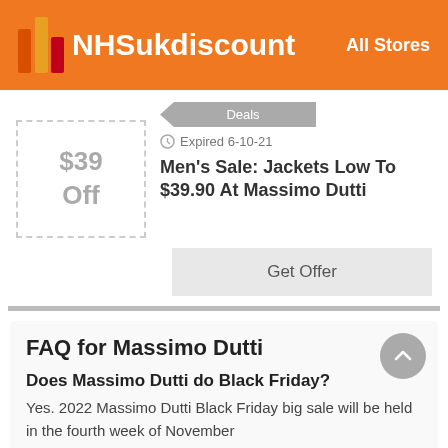NHSukdiscount — All Stores
$39 Off
Deals
Expired 6-10-21
Men's Sale: Jackets Low To $39.90 At Massimo Dutti
Get Offer
FAQ for Massimo Dutti
Does Massimo Dutti do Black Friday?
Yes. 2022 Massimo Dutti Black Friday big sale will be held in the fourth week of November